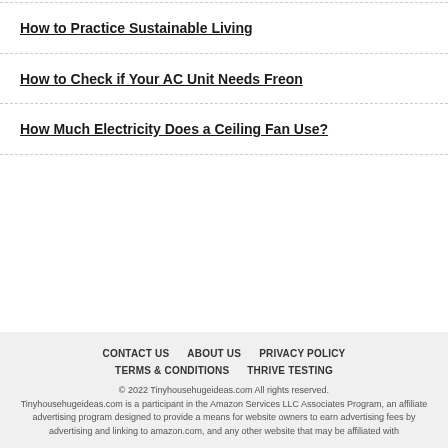How to Practice Sustainable Living
How to Check if Your AC Unit Needs Freon
How Much Electricity Does a Ceiling Fan Use?
CONTACT US  ABOUT US  PRIVACY POLICY  TERMS & CONDITIONS  THRIVE TESTING  © 2022 Tinyhousehugeideas.com All rights reserved. Tinyhousehugeideas.com is a participant in the Amazon Services LLC Associates Program, an affiliate advertising program designed to provide a means for website owners to earn advertising fees by advertising and linking to amazon.com, and any other website that may be affiliated with